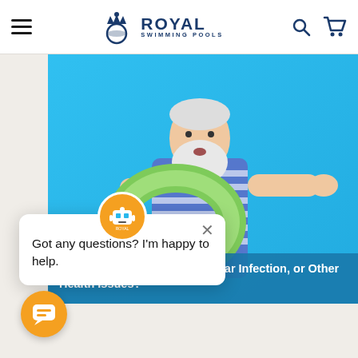Royal Swimming Pools
[Figure (photo): Older man with white beard wearing a striped swimsuit and holding a green inflatable ring, posed against a bright blue background]
...use a UTI, Yeast Infection, Ear Infection, or Other Health Issues?
[Figure (other): Chatbot popup with robot avatar saying 'Got any questions? I'm happy to help.' with a close button, and an orange chat bubble button in the bottom left corner]